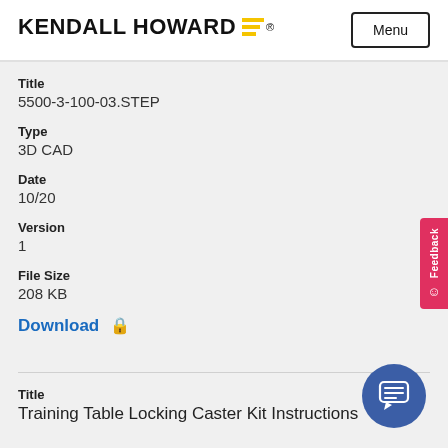[Figure (logo): Kendall Howard logo with yellow horizontal bars and text]
Menu
Title
5500-3-100-03.STEP
Type
3D CAD
Date
10/20
Version
1
File Size
208 KB
Download 🔒
Title
Training Table Locking Caster Kit Instructions